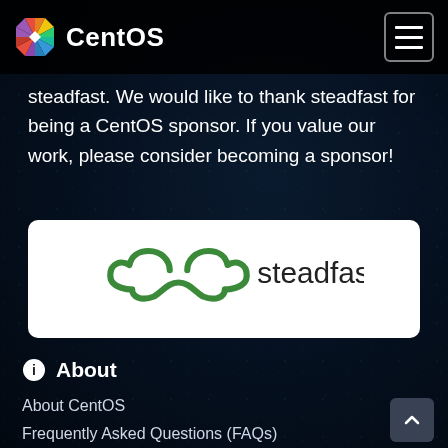CentOS
steadfast. We would like to thank steadfast for being a CentOS sponsor. If you value our work, please consider becoming a sponsor!
[Figure (logo): Steadfast company logo — green cloud infinity symbol followed by the word 'steadfast' in dark text, displayed on a white rounded rectangle background]
About
About CentOS
Frequently Asked Questions (FAQs)
Special Interest Groups (SIGs)
CentOS Variants
Governance